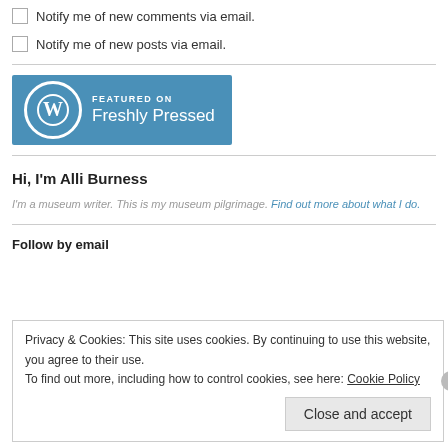Notify me of new comments via email.
Notify me of new posts via email.
[Figure (logo): WordPress 'Featured on Freshly Pressed' badge with WordPress logo on blue background]
Hi, I'm Alli Burness
I'm a museum writer. This is my museum pilgrimage. Find out more about what I do.
Follow by email
Privacy & Cookies: This site uses cookies. By continuing to use this website, you agree to their use.
To find out more, including how to control cookies, see here: Cookie Policy
Close and accept